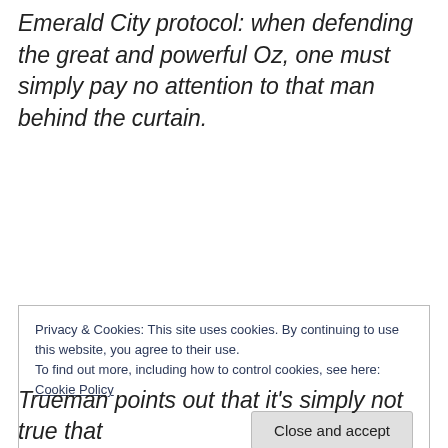Emerald City protocol: when defending the great and powerful Oz, one must simply pay no attention to that man behind the curtain.
Privacy & Cookies: This site uses cookies. By continuing to use this website, you agree to their use.
To find out more, including how to control cookies, see here: Cookie Policy
Trueman points out that it's simply not true that